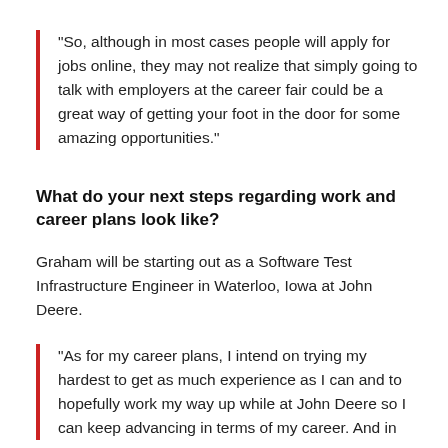“So, although in most cases people will apply for jobs online, they may not realize that simply going to talk with employers at the career fair could be a great way of getting your foot in the door for some amazing opportunities.”
What do your next steps regarding work and career plans look like?
Graham will be starting out as a Software Test Infrastructure Engineer in Waterloo, Iowa at John Deere.
“As for my career plans, I intend on trying my hardest to get as much experience as I can and to hopefully work my way up while at John Deere so I can keep advancing in terms of my career. And in